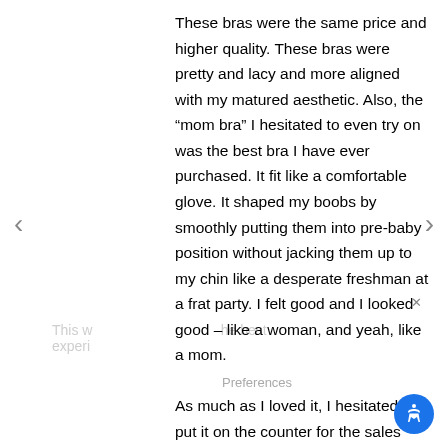These bras were the same price and higher quality. These bras were pretty and lacy and more aligned with my matured aesthetic. Also, the “mom bra” I hesitated to even try on was the best bra I have ever purchased. It fit like a comfortable glove. It shaped my boobs by smoothly putting them into pre-baby position without jacking them up to my chin like a desperate freshman at a frat party. I felt good and I looked good – like a woman, and yeah, like a mom.

As much as I loved it, I hesitated as I put it on the counter for the sales associate to ring up. Did I want to be the woman with four clasps on the back of her bra? Did I